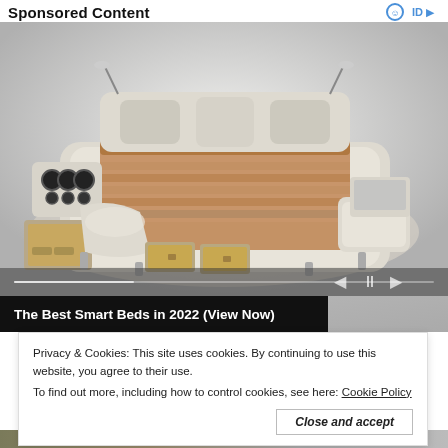Sponsored Content
[Figure (photo): A luxurious multi-function smart bed with built-in speakers, drawers, massage chair attachments, storage compartments, reading lamps, and a laptop stand, shown in cream/beige leather with a striped mattress]
The Best Smart Beds in 2022 (View Now)
Privacy & Cookies: This site uses cookies. By continuing to use this website, you agree to their use.
To find out more, including how to control cookies, see here: Cookie Policy
Close and accept